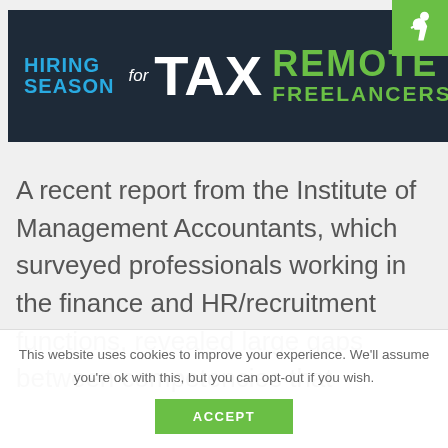[Figure (logo): Banner logo reading 'HIRING SEASON for TAX REMOTE FREELANCERS' on dark navy background with green text and a green icon box in the top-right corner]
A recent report from the Institute of Management Accountants, which surveyed professionals working in the finance and HR/recruitment functions, revealed large gaps between competencies that
This website uses cookies to improve your experience. We'll assume you're ok with this, but you can opt-out if you wish.
ACCEPT